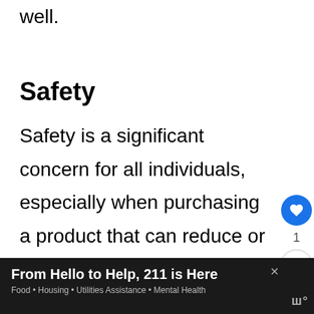pretty soothing and refreshing as well.
Safety
Safety is a significant concern for all individuals, especially when purchasing a product that can reduce or increase your pain if you are not careful. Ideally, you should go for k... ...faw
From Hello to Help, 211 is Here
Food • Housing • Utilities Assistance • Mental Health